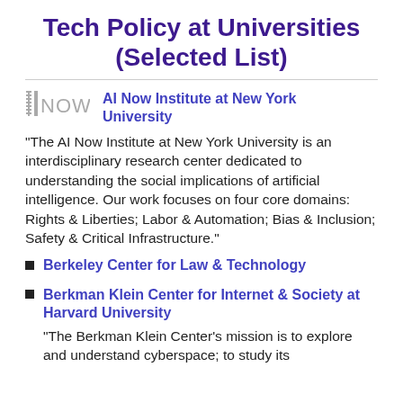Tech Policy at Universities (Selected List)
[Figure (logo): AI Now Institute logo — stylized letters AINOW in gray]
AI Now Institute at New York University
"The AI Now Institute at New York University is an interdisciplinary research center dedicated to understanding the social implications of artificial intelligence. Our work focuses on four core domains: Rights & Liberties; Labor & Automation; Bias & Inclusion; Safety & Critical Infrastructure."
Berkeley Center for Law & Technology
Berkman Klein Center for Internet & Society at Harvard University
"The Berkman Klein Center's mission is to explore and understand cyberspace; to study its